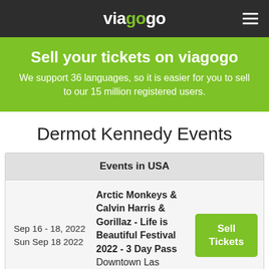viagogo
Sell your tickets on viagogo
We support 36 languages, so it is easier for you to sell to our 15 million registered users.
Dermot Kennedy Events
| Events in USA |
| --- |
| Sep 16 - 18, 2022
Sun Sep 18 2022 | Arctic Monkeys & Calvin Harris & Gorillaz - Life is Beautiful Festival 2022 - 3 Day Pass
Downtown Las Vegas | Sell Tickets |